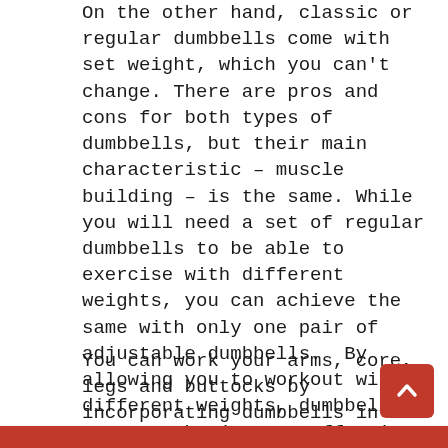On the other hand, classic or regular dumbbells come with set weight, which you can't change. There are pros and cons for both types of dumbbells, but their main characteristic – muscle building – is the same. While you will need a set of regular dumbbells to be able to exercise with different weights, you can achieve the same with only one pair of adjustable dumbbells.  By allowing you to workout with different weights, dumbbell sets can be just as effective in building leaner and stronger muscles as home gym machines are.
You can work your arms, core, legs and buttocks by incorporating dumbbells in your daily fitness routine and increasing weight to the maximum you can handle. This way, you force your muscles to use their maximum potential and by